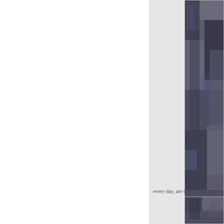[Figure (photo): Partial view of a photo showing outdoor scene, cropped at right edge of page, top portion]
every day, are the aims of Sc
[Figure (photo): Partial view of a second photo, cropped at right edge and bottom of page]